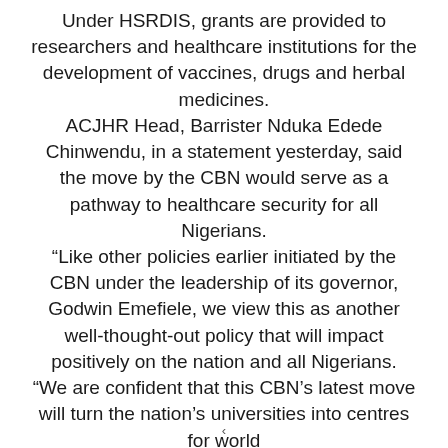Under HSRDIS, grants are provided to researchers and healthcare institutions for the development of vaccines, drugs and herbal medicines. ACJHR Head, Barrister Nduka Edede Chinwendu, in a statement yesterday, said the move by the CBN would serve as a pathway to healthcare security for all Nigerians. “Like other policies earlier initiated by the CBN under the leadership of its governor, Godwin Emefiele, we view this as another well-thought-out policy that will impact positively on the nation and all Nigerians. “We are confident that this CBN’s latest move will turn the nation’s universities into centres for world